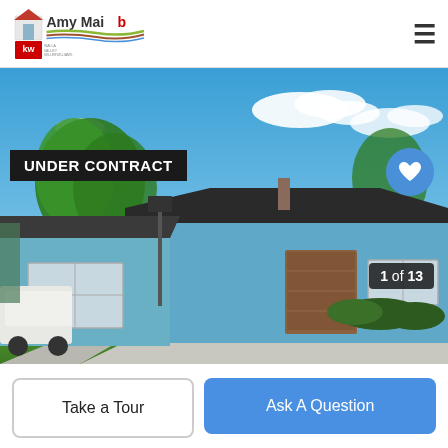Amy Maib - Keller Williams Walla Valley
[Figure (photo): Exterior photo of a single-story house with blue siding, brown garage door, concrete driveway, green lawn, and trees under a blue sky with clouds. Labeled '1 of 13'.]
UNDER CONTRACT
1 of 13
Take a Tour
Ask A Question